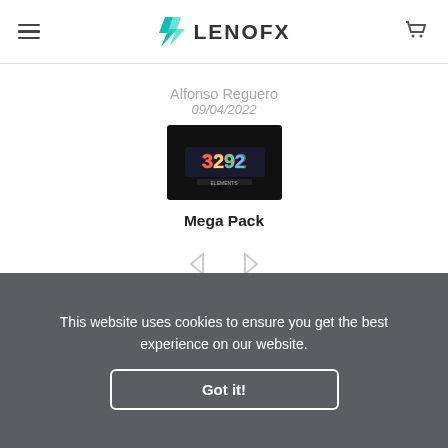LENOFX
Alfonso Reguero
09/04/2022
[Figure (screenshot): Dark background product thumbnail showing '3292' text with colorful gaming style graphics]
Mega Pack
This website uses cookies to ensure you get the best experience on our website.
Got it!